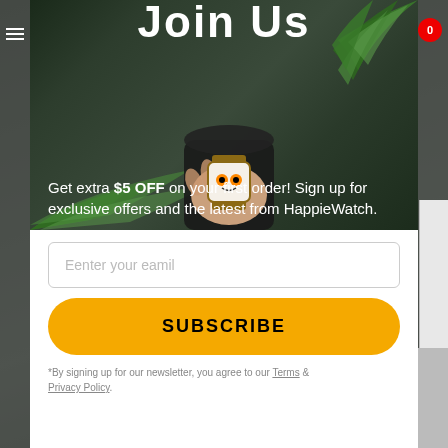Join Us
[Figure (photo): Person wearing a smartwatch with a dark leather jacket, with tropical palm leaves in background]
Get extra $5 OFF on your first order! Sign up for exclusive offers and the latest from HappieWatch.
Eenter your eamil
SUBSCRIBE
*By signing up for our newsletter, you agree to our Terms & Privacy Policy.